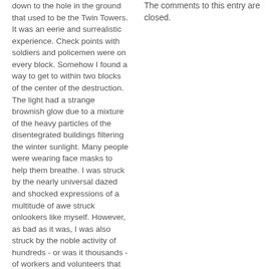down to the hole in the ground that used to be the Twin Towers. It was an eerie and surrealistic experience. Check points with soldiers and policemen were on every block. Somehow I found a way to get to within two blocks of the center of the destruction. The light had a strange brownish glow due to a mixture of the heavy particles of the disentegrated buildings filtering the winter sunlight. Many people were wearing face masks to help them breathe. I was struck by the nearly universal dazed and shocked expressions of a multitude of awe struck onlookers like myself. However, as bad as it was, I was also struck by the noble activity of hundreds - or was it thousands - of workers and volunteers that were quietly, and methodically attending to the grim work of cleaning up this horrible lower manhatten "Pearl Harbor" mess. Returning to Union Square I came upon a hastily erected evolving memorial. On subequent days I came upon similar memorials, most notably a large one in Grand Central Station. What
The comments to this entry are closed.